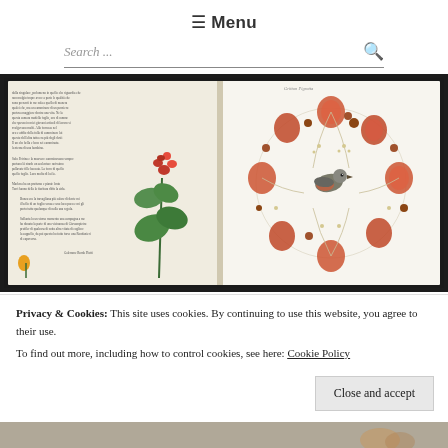☰ Menu
Search ...
[Figure (photo): Open book spread showing botanical illustrations: left page has floral watercolor painting of a geranium plant with red flowers and green leaves alongside handwritten/printed Italian text; right page shows a circular wreath illustration with autumn/winter botanicals including physalis (Chinese lanterns), berries, and a small bird in the center, rendered in watercolor.]
Privacy & Cookies:  This site uses cookies. By continuing to use this website, you agree to their use.
To find out more, including how to control cookies, see here: Cookie Policy
Close and accept